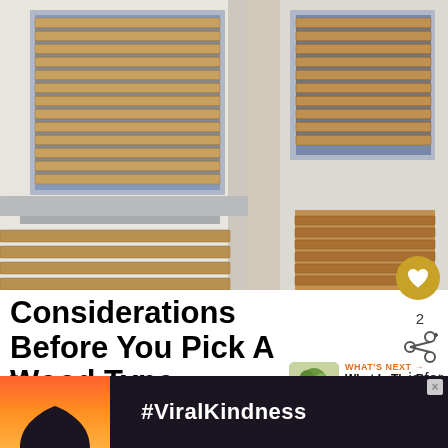[Figure (photo): Exterior of a modern building with horizontal wooden slat panels (shutters/louvers) on windows, white walls, and blue glass. View from below looking up at the corner of the building.]
Considerations Before You Pick A Wood Type
[Figure (infographic): What's Next panel: small thumbnail image of plant in pot with arrow label 'WHAT'S NEXT' and text 'What Is The Best Floorin...']
To pick a type of wood that will do a great job as your exterior shutters, there are a few things for you...
[Figure (photo): Advertisement banner at bottom: dark background with silhouette of hands forming a heart shape against a colorful sunset, with text '#ViralKindness']